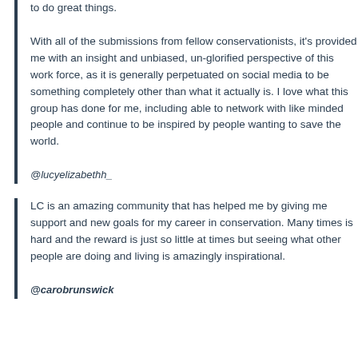to do great things.

With all of the submissions from fellow conservationists, it's provided me with an insight and unbiased, un-glorified perspective of this work force, as it is generally perpetuated on social media to be something completely other than what it actually is. I love what this group has done for me, including able to network with like minded people and continue to be inspired by people wanting to save the world.
@lucyelizabethh_
LC is an amazing community that has helped me by giving me support and new goals for my career in conservation. Many times is hard and the reward is just so little at times but seeing what other people are doing and living is amazingly inspirational.
@carobrunswick